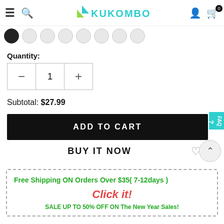Kukombo — navigation header with hamburger menu, search, logo, account, and cart (0 items)
[Figure (screenshot): Row of color-selection circles, first one dark/black selected, remainder light gray]
Quantity:
[Figure (other): Quantity stepper showing minus button, value 1, plus button]
Subtotal: $27.99
ADD TO CART
BUY IT NOW
Free Shipping ON Orders Over $35( 7-12days )
Click it!
SALE UP TO 50% OFF ON The New Year Sales!